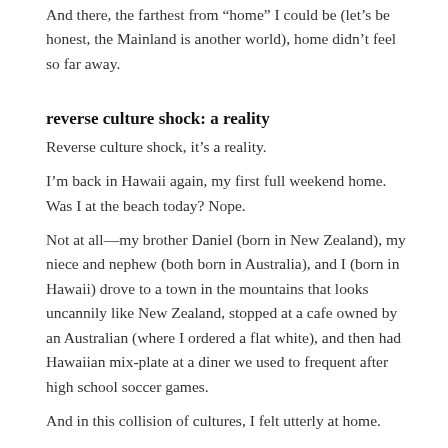And there, the farthest from “home” I could be (let’s be honest, the Mainland is another world), home didn’t feel so far away.
reverse culture shock: a reality
Reverse culture shock, it’s a reality.
I’m back in Hawaii again, my first full weekend home. Was I at the beach today? Nope.
Not at all—my brother Daniel (born in New Zealand), my niece and nephew (both born in Australia), and I (born in Hawaii) drove to a town in the mountains that looks uncannily like New Zealand, stopped at a cafe owned by an Australian (where I ordered a flat white), and then had Hawaiian mix-plate at a diner we used to frequent after high school soccer games.
And in this collision of cultures, I felt utterly at home.